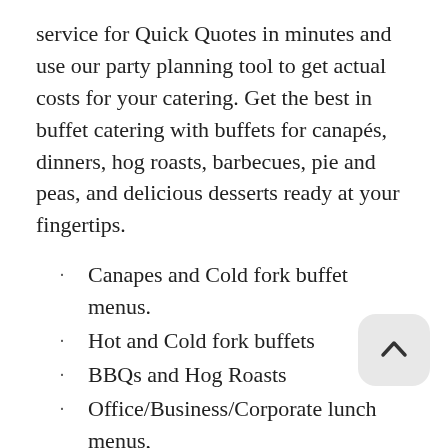service for Quick Quotes in minutes and use our party planning tool to get actual costs for your catering. Get the best in buffet catering with buffets for canapés, dinners, hog roasts, barbecues, pie and peas, and delicious desserts ready at your fingertips.
Canapes and Cold fork buffet menus.
Hot and Cold fork buffets
BBQs and Hog Roasts
Office/Business/Corporate lunch menus,
Hot and Cold buffet food menus
Christmas Buffet Menu
Organic buffet catering Menus
Business buffet menus